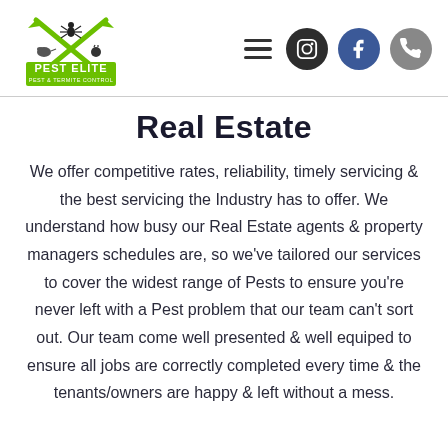Pest Elite Pest & Termite Control — navigation header with logo, hamburger menu, Instagram, Facebook, and phone icons
Real Estate
We offer competitive rates, reliability, timely servicing & the best servicing the Industry has to offer. We understand how busy our Real Estate agents & property managers schedules are, so we've tailored our services to cover the widest range of Pests to ensure you're never left with a Pest problem that our team can't sort out. Our team come well presented & well equiped to ensure all jobs are correctly completed every time & the tenants/owners are happy & left without a mess.